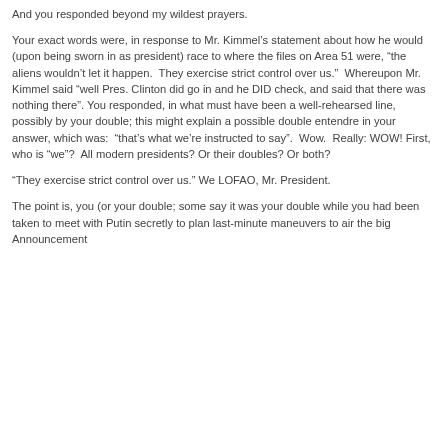And you responded beyond my wildest prayers.
Your exact words were, in response to Mr. Kimmel’s statement about how he would (upon being sworn in as president) race to where the files on Area 51 were, “the aliens wouldn’t let it happen.  They exercise strict control over us.”  Whereupon Mr. Kimmel said “well Pres. Clinton did go in and he DID check, and said that there was nothing there”. You responded, in what must have been a well-rehearsed line, possibly by your double; this might explain a possible double entendre in your answer, which was:  “that’s what we’re instructed to say”.  Wow.  Really: WOW! First, who is “we”?  All modern presidents? Or their doubles? Or both?
“They exercise strict control over us.” We LOFAO, Mr. President.
The point is, you (or your double; some say it was your double while you had been taken to meet with Putin secretly to plan last-minute maneuvers to air the big Announcement